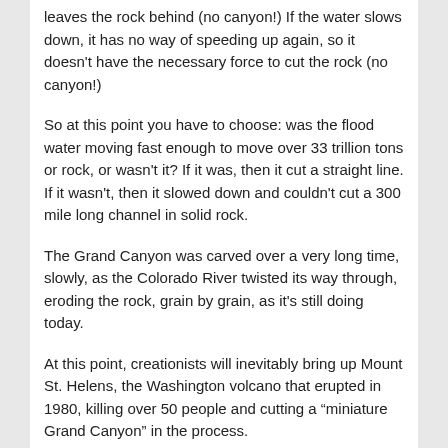leaves the rock behind (no canyon!)  If the water slows down, it has no way of speeding up again, so it doesn't have the necessary force to cut the rock (no canyon!)
So at this point you have to choose: was the flood water moving fast enough to move over 33 trillion tons or rock, or wasn't it?  If it was, then it cut a straight line.  If it wasn't, then it slowed down and couldn't cut a 300 mile long channel in solid rock.
The Grand Canyon was carved over a very long time, slowly, as the Colorado River twisted its way through, eroding the rock, grain by grain, as it's still doing today.
At this point, creationists will inevitably bring up Mount St. Helens, the Washington volcano that erupted in 1980, killing over 50 people and cutting a “miniature Grand Canyon” in the process.
Advertisements
[Figure (logo): Automattic logo with text 'AUTOMATTIC' and tagline below]